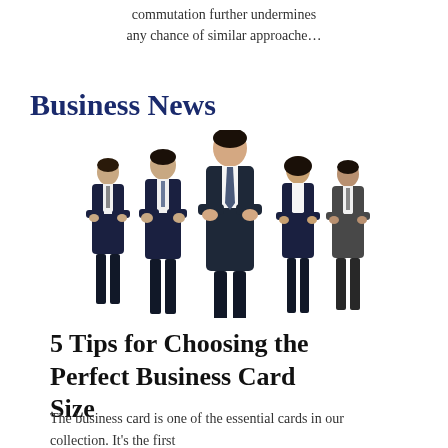commutation further undermines any chance of similar approache…
Business News
[Figure (photo): Group of five business professionals in dark suits standing together, arms crossed, against a white background.]
5 Tips for Choosing the Perfect Business Card Size
The business card is one of the essential cards in our collection. It's the first